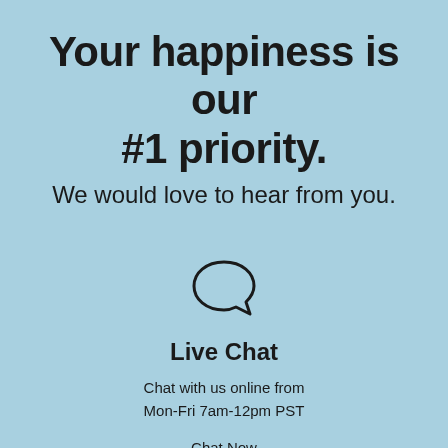Your happiness is our #1 priority.
We would love to hear from you.
[Figure (illustration): Speech bubble / chat icon outline — a circle with a small tail at the bottom left, representing live chat]
Live Chat
Chat with us online from
Mon-Fri 7am-12pm PST
Chat Now